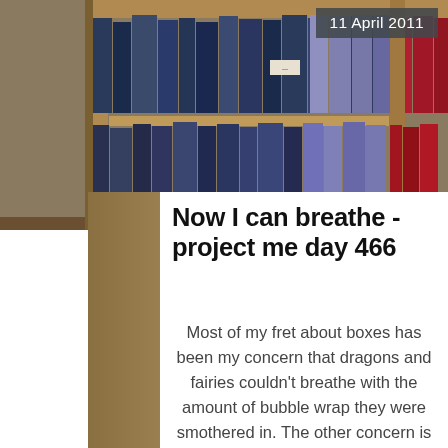[Figure (photo): Photograph of a wooden bookshelf filled with books in dark blue and other colors, slightly out of focus]
11 April 2011
Now I can breathe - project me day 466
Most of my fret about boxes has been my concern that dragons and fairies couldn't breathe with the amount of bubble wrap they were smothered in. The other concern is that I couldn't breathe until I knew the made a safe trip to the other side